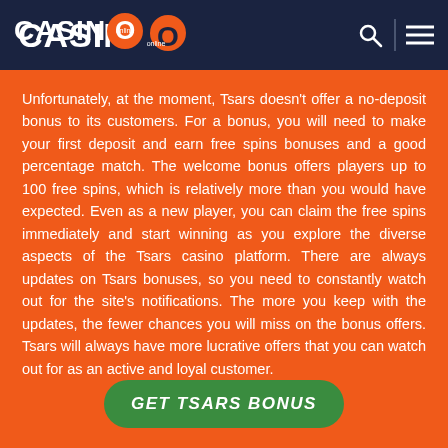CASINO online
Unfortunately, at the moment, Tsars doesn't offer a no-deposit bonus to its customers. For a bonus, you will need to make your first deposit and earn free spins bonuses and a good percentage match. The welcome bonus offers players up to 100 free spins, which is relatively more than you would have expected. Even as a new player, you can claim the free spins immediately and start winning as you explore the diverse aspects of the Tsars casino platform. There are always updates on Tsars bonuses, so you need to constantly watch out for the site's notifications. The more you keep with the updates, the fewer chances you will miss on the bonus offers. Tsars will always have more lucrative offers that you can watch out for as an active and loyal customer.
GET TSARS BONUS